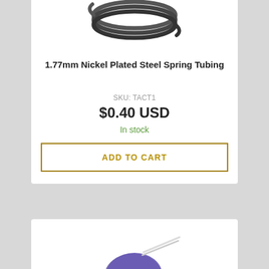[Figure (photo): Coiled nickel plated steel spring tubing viewed from above, dark gray metallic color]
1.77mm Nickel Plated Steel Spring Tubing
SKU: TACT1
$0.40 USD
In stock
ADD TO CART
[Figure (photo): Partially visible product image at bottom of page, appears to be a blue/purple colored item]